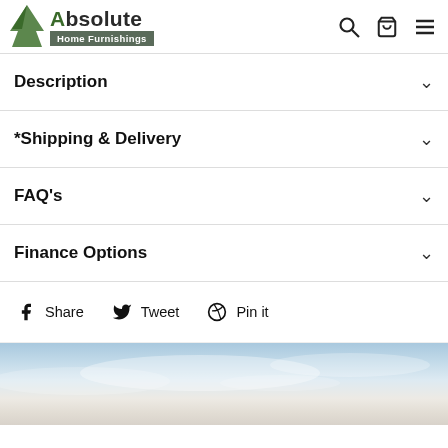Absolute Home Furnishings
Description
*Shipping & Delivery
FAQ's
Finance Options
Share  Tweet  Pin it
[Figure (photo): Sky with clouds photo at bottom of page]